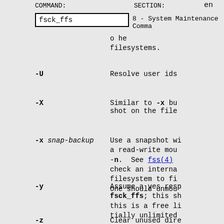COMMAND: fsck_ffs   SECTION: 8 - System Maintenance Commands   en
o he filesystems.
-U    Resolve user ids
-X    Similar to -x but shot on the file
-x snap-backup    Use a snapshot wi a read-write mou -n. See fss(4) check an interna filesystem to fi one should unmou
-y    Assume a yes resp fsck_ffs; this sh this is a free li tially unlimited
-z    Clear unused dire includes deleted